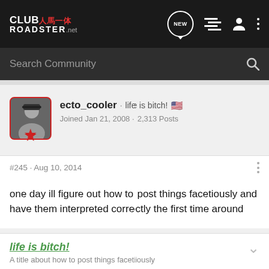CLUB人馬一体 ROADSTER.net — Navigation bar with NEW, list, user, and dots icons
Search Community
ecto_cooler · life is bitch! 🇺🇸
Joined Jan 21, 2008 · 2,313 Posts
#245 · Aug 10, 2014
one day ill figure out how to post things facetiously and have them interpreted correctly the first time around
life is bitch!